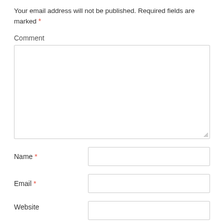Your email address will not be published. Required fields are marked *
Comment
[Figure (screenshot): A large textarea input box for comment entry, with a resize handle at the bottom right corner]
Name *
[Figure (screenshot): A text input field for Name]
Email *
[Figure (screenshot): A text input field for Email]
Website
[Figure (screenshot): A text input field for Website (partially visible)]